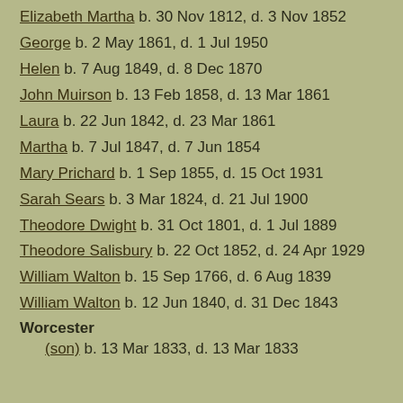Elizabeth Martha  b. 30 Nov 1812, d. 3 Nov 1852
George  b. 2 May 1861, d. 1 Jul 1950
Helen  b. 7 Aug 1849, d. 8 Dec 1870
John Muirson  b. 13 Feb 1858, d. 13 Mar 1861
Laura  b. 22 Jun 1842, d. 23 Mar 1861
Martha  b. 7 Jul 1847, d. 7 Jun 1854
Mary Prichard  b. 1 Sep 1855, d. 15 Oct 1931
Sarah Sears  b. 3 Mar 1824, d. 21 Jul 1900
Theodore Dwight  b. 31 Oct 1801, d. 1 Jul 1889
Theodore Salisbury  b. 22 Oct 1852, d. 24 Apr 1929
William Walton  b. 15 Sep 1766, d. 6 Aug 1839
William Walton  b. 12 Jun 1840, d. 31 Dec 1843
Worcester
(son)  b. 13 Mar 1833, d. 13 Mar 1833